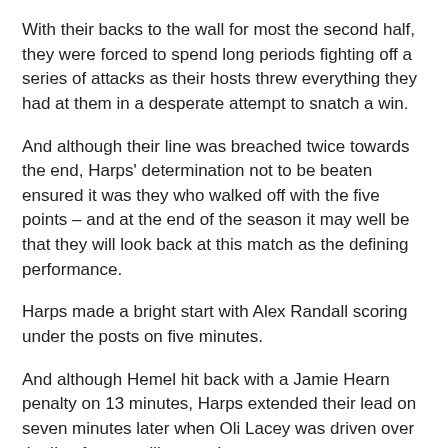With their backs to the wall for most the second half, they were forced to spend long periods fighting off a series of attacks as their hosts threw everything they had at them in a desperate attempt to snatch a win.
And although their line was breached twice towards the end, Harps' determination not to be beaten ensured it was they who walked off with the five points – and at the end of the season it may well be that they will look back at this match as the defining performance.
Harps made a bright start with Alex Randall scoring under the posts on five minutes.
And although Hemel hit back with a Jamie Hearn penalty on 13 minutes, Harps extended their lead on seven minutes later when Oli Lacey was driven over the line from a rolling maul.